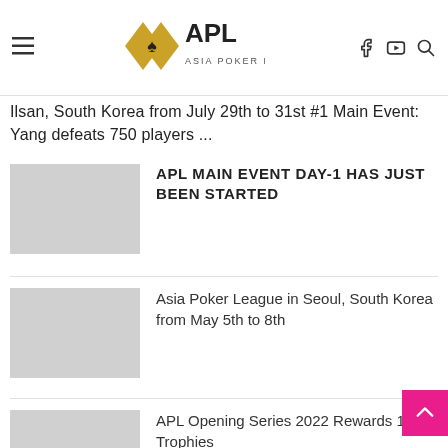APL Asia Poker League
Ilsan, South Korea from July 29th to 31st #1 Main Event: Yang defeats 750 players ...
APL MAIN EVENT DAY-1 HAS JUST BEEN STARTED
Asia Poker League in Seoul, South Korea from May 5th to 8th
APL Opening Series 2022 Rewards 11 Trophies